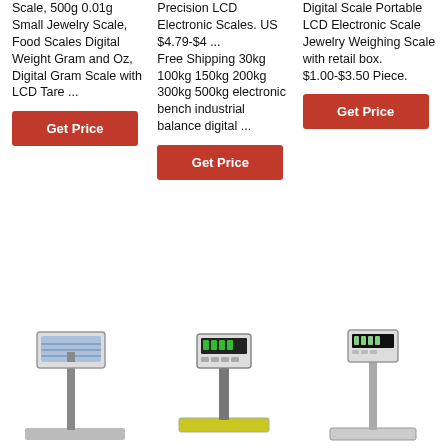Scale, 500g 0.01g Small Jewelry Scale, Food Scales Digital Weight Gram and Oz, Digital Gram Scale with LCD Tare ...
Get Price
Precision LCD Electronic Scales. US $4.79-$4 ... Free Shipping 30kg 100kg 150kg 200kg 300kg 500kg electronic bench industrial balance digital ...
Get Price
Digital Scale Portable LCD Electronic Scale Jewelry Weighing Scale with retail box. $1.00-$3.50 Piece.
Get Price
[Figure (photo): Three weighing scale products with pole-mounted displays and flat platforms, shown as product images at the bottom of the page.]